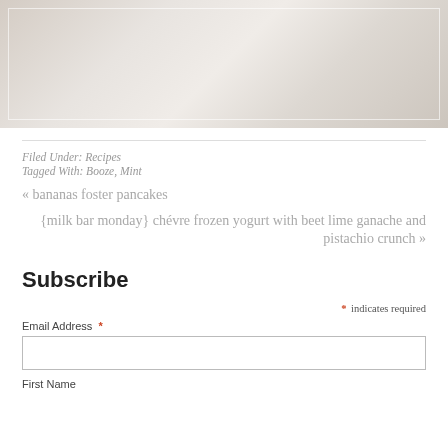[Figure (photo): Blurred food/drink photo with white border overlay, beige and cream tones]
Filed Under: Recipes
Tagged With: Booze, Mint
« bananas foster pancakes
{milk bar monday} chévre frozen yogurt with beet lime ganache and pistachio crunch »
Subscribe
* indicates required
Email Address *
First Name